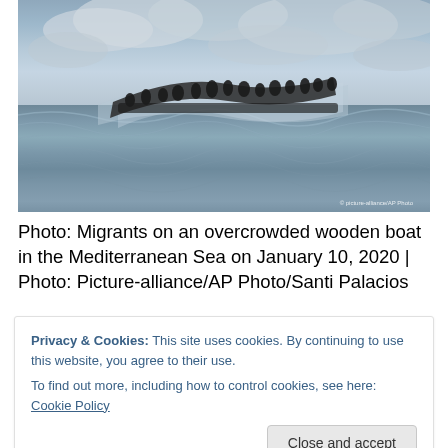[Figure (photo): Migrants crowded on an overcrowded wooden boat on rough waters of the Mediterranean Sea, with stormy grey skies in the background. Photo credit: picture-alliance/AP Photo]
Photo: Migrants on an overcrowded wooden boat in the Mediterranean Sea on January 10, 2020 | Photo: Picture-alliance/AP Photo/Santi Palacios
Privacy & Cookies: This site uses cookies. By continuing to use this website, you agree to their use. To find out more, including how to control cookies, see here: Cookie Policy
February